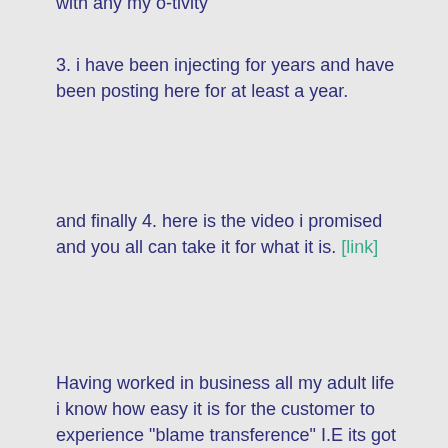3. i have been injecting for years and have been posting here for at least a year.
and finally 4. here is the video i promised and you all can take it for what it is. [link]
Having worked in business all my adult life i know how easy it is for the customer to experience "blame transference" I.E its got to be the products fault because i cant be to blame.
My parents used to tell me